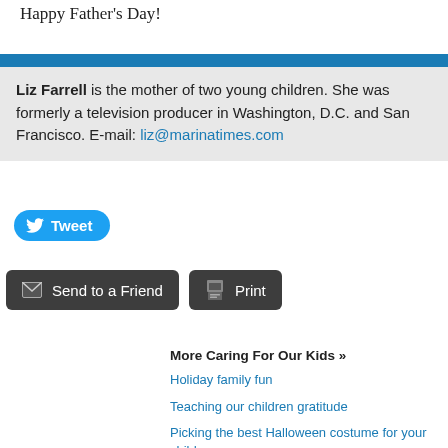Happy Father's Day!
Liz Farrell is the mother of two young children. She was formerly a television producer in Washington, D.C. and San Francisco. E-mail: liz@marinatimes.com
[Figure (other): Tweet button with Twitter bird icon]
[Figure (other): Send to a Friend and Print buttons]
More Caring For Our Kids »
Holiday family fun
Teaching our children gratitude
Picking the best Halloween costume for your child
Easing carpool craziness: Ride sharing options for kids